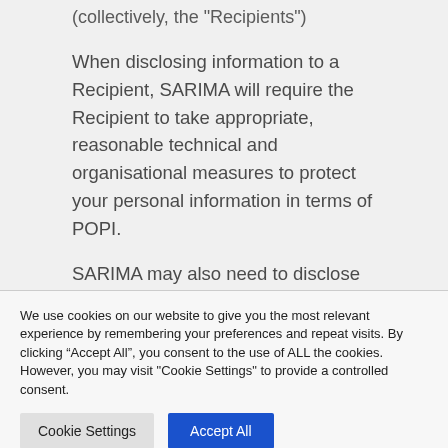(collectively, the "Recipients")
When disclosing information to a Recipient, SARIMA will require the Recipient to take appropriate, reasonable technical and organisational measures to protect your personal information in terms of POPI.
SARIMA may also need to disclose your personal information to others where it has a
We use cookies on our website to give you the most relevant experience by remembering your preferences and repeat visits. By clicking “Accept All”, you consent to the use of ALL the cookies. However, you may visit "Cookie Settings" to provide a controlled consent.